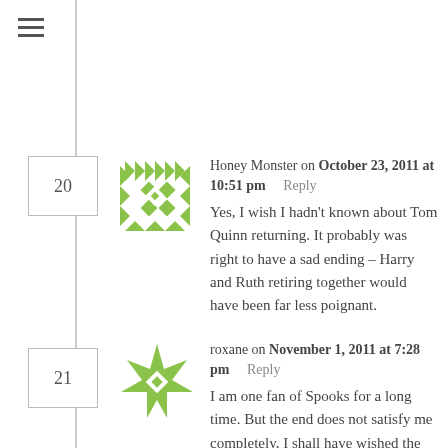[Figure (other): Hamburger menu icon (three horizontal lines)]
Honey Monster on October 23, 2011 at 10:51 pm   Reply
Yes, I wish I hadn't known about Tom Quinn returning. It probably was right to have a sad ending – Harry and Ruth retiring together would have been far less poignant.
roxane on November 1, 2011 at 7:28 pm   Reply
I am one fan of Spooks for a long time. But the end does not satisfy me completely, I shall have wished the happier end – and sober (no setting sun etc.) – for Harry and Ruth, maybe a return on the Grid together. The death of Ruth-Pénélope was so